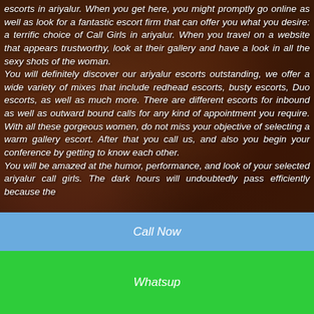escorts in ariyalur. When you get here, you might promptly go online as well as look for a fantastic escort firm that can offer you what you desire: a terrific choice of Call Girls in ariyalur. When you travel on a website that appears trustworthy, look at their gallery and have a look in all the sexy shots of the woman. You will definitely discover our ariyalur escorts outstanding, we offer a wide variety of mixes that include redhead escorts, busty escorts, Duo escorts, as well as much more. There are different escorts for inbound as well as outward bound calls for any kind of appointment you require. With all these gorgeous women, do not miss your objective of selecting a warm gallery escort. After that you call us, and also you begin your conference by getting to know each other. You will be amazed at the humor, performance, and look of your selected ariyalur call girls. The dark hours will undoubtedly pass efficiently because the
Call Now
Whatsup